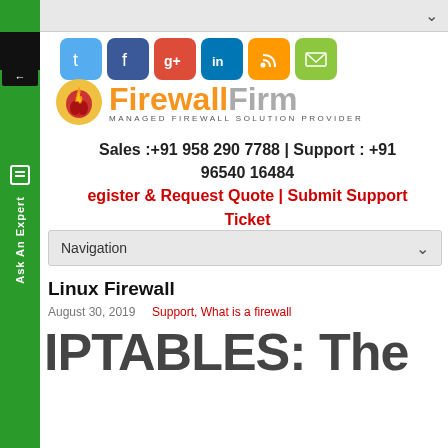nu
[Figure (logo): Firewall Firm logo with flame icon and social media icons (Twitter, Facebook, Google+, LinkedIn, RSS, Email)]
Sales :+91 958 290 7788 | Support : +91 96540 16484
Register & Request Quote | Submit Support Ticket
Navigation
Linux Firewall
August 30, 2019   Support, What is a firewall
IPTABLES: The